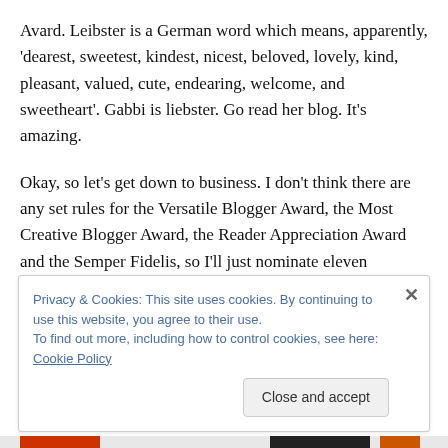Avard. Leibster is a German word which means, apparently, 'dearest, sweetest, kindest, nicest, beloved, lovely, kind, pleasant, valued, cute, endearing, welcome, and sweetheart'. Gabbi is liebster. Go read her blog. It's amazing.
Okay, so let's get down to business. I don't think there are any set rules for the Versatile Blogger Award, the Most Creative Blogger Award, the Reader Appreciation Award and the Semper Fidelis, so I'll just nominate eleven bloggers for these awards (I'm nominating the same
Privacy & Cookies: This site uses cookies. By continuing to use this website, you agree to their use.
To find out more, including how to control cookies, see here: Cookie Policy